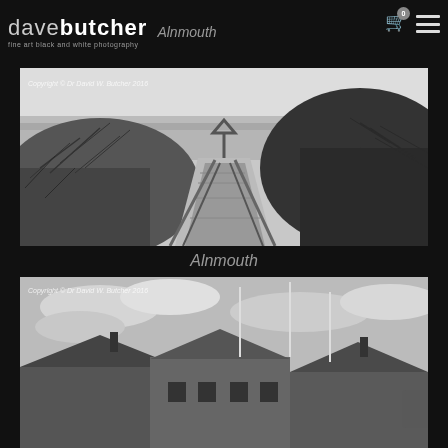dave butcher fine art black and white photography — Alnmouth
[Figure (photo): Black and white photograph of a wooden boardwalk path through sand dunes with marram grass on either side leading toward a beach and sea, with a triangular warning sign post. Copyright © Dr David W. Butcher 2016]
Alnmouth
[Figure (photo): Black and white photograph of rooftops of seaside village buildings with flagpoles and cloudy sky. Copyright © Dr David W. Butcher 2016]